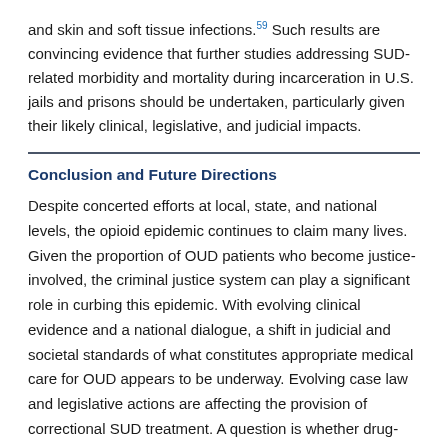and skin and soft tissue infections.59 Such results are convincing evidence that further studies addressing SUD-related morbidity and mortality during incarceration in U.S. jails and prisons should be undertaken, particularly given their likely clinical, legislative, and judicial impacts.
Conclusion and Future Directions
Despite concerted efforts at local, state, and national levels, the opioid epidemic continues to claim many lives. Given the proportion of OUD patients who become justice-involved, the criminal justice system can play a significant role in curbing this epidemic. With evolving clinical evidence and a national dialogue, a shift in judicial and societal standards of what constitutes appropriate medical care for OUD appears to be underway. Evolving case law and legislative actions are affecting the provision of correctional SUD treatment. A question is whether drug-related in-prison morbidity and mortality will